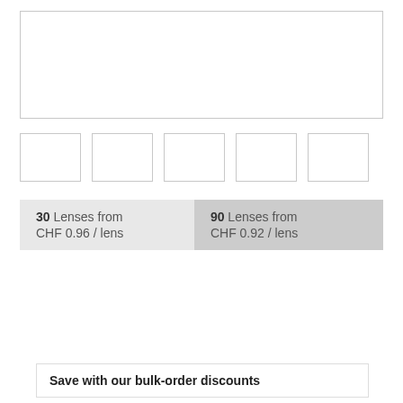[Figure (photo): Large product image placeholder box (empty white box with border)]
[Figure (photo): Row of 5 thumbnail image placeholder boxes]
30 Lenses from CHF 0.96 / lens
90 Lenses from CHF 0.92 / lens
|  | Left Eye | Right Eye |
| --- | --- | --- |
| Radius (BC) | 8.30 | 8.30 |
| Dia (Ø) | 14.20 | 14.20 |
| Power (Sph / PWR) |  |  |
Save with our bulk-order discounts